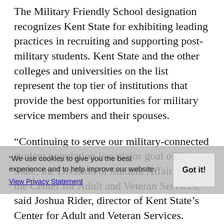The Military Friendly School designation recognizes Kent State for exhibiting leading practices in recruiting and supporting post-military students. Kent State and the other colleges and universities on the list represent the top tier of institutions that provide the best opportunities for military service members and their spouses.
“Continuing to serve our military-connected student population is a major goal of Kent State, the Division of Student Affairs and the Center for Adult and Veteran Services,” said Joshua Rider, director of Kent State’s Center for Adult and Veteran Services. “Providing impactful programs and efficient services for these students is and will continue to be a priority.”
The list of Military Friendly Schools ratings is assessed through the evaluation of both public